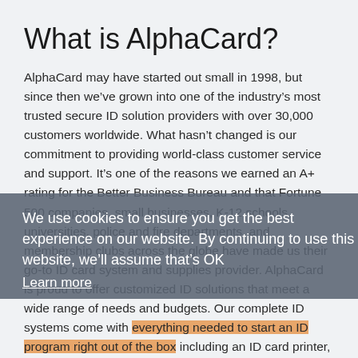What is AlphaCard?
AlphaCard may have started out small in 1998, but since then we’ve grown into one of the industry’s most trusted secure ID solution providers with over 30,000 customers worldwide. What hasn’t changed is our commitment to providing world-class customer service and support. It’s one of the reasons we earned an A+ rating for the Better Business Bureau and that Fortune 500 companies, small businesses, K-12 schools, universities, police and fire departments, and membership clubs across the globe have made us their go-to ID card system and supplies provider. AlphaCard is proud to offer customized ID solutions that meet a wide range of needs and budgets. Our complete ID systems come with everything needed to start an ID program right out of the box including an ID card printer, digital cameras, supplies, and software. We offer a selection of printers and supplies from some of the industry’s most
We use cookies to ensure you get the best experience on our website. By continuing to use this website, we’ll assume that’s OK
Learn more